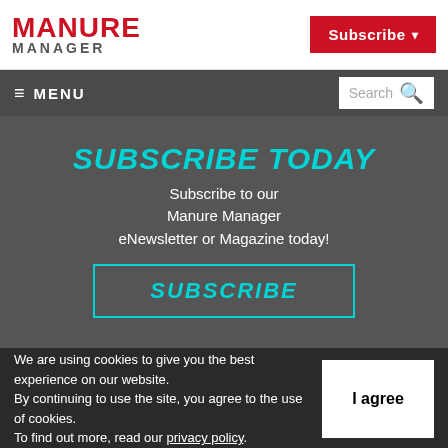MANURE MANAGER | Subscribe
[Figure (screenshot): Navigation menu bar with hamburger menu icon, MENU text, and Search box with magnifying glass icon on dark gray background]
SUBSCRIBE TODAY
Subscribe to our Manure Manager eNewsletter or Magazine today!
SUBSCRIBE
We are using cookies to give you the best experience on our website. By continuing to use the site, you agree to the use of cookies. To find out more, read our privacy policy.